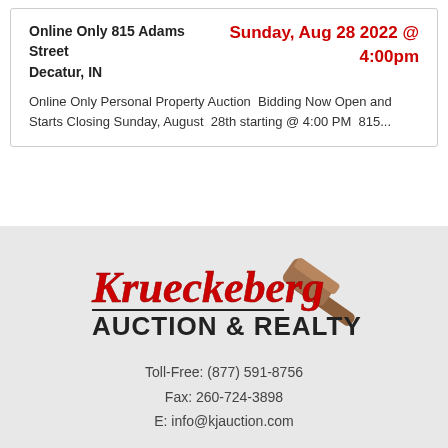Online Only 815 Adams Street
Decatur, IN
Sunday, Aug 28 2022 @ 4:00pm
Online Only Personal Property Auction  Bidding Now Open and Starts Closing Sunday, August  28th starting @ 4:00 PM  815...
[Figure (logo): Krueckeberg Auction & Realty logo with cursive red lettering and a brown gavel]
Toll-Free: (877) 591-8756
Fax: 260-724-3898
E: info@kjauction.com